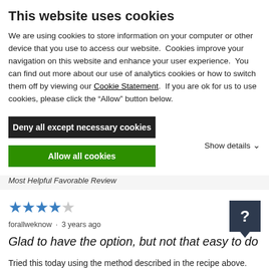This website uses cookies
We are using cookies to store information on your computer or other device that you use to access our website.  Cookies improve your navigation on this website and enhance your user experience.  You can find out more about our use of analytics cookies or how to switch them off by viewing our Cookie Statement.  If you are ok for us to use cookies, please click the “Allow” button below.
Deny all except necessary cookies
Allow all cookies
Show details ⌄
Most Helpful Favorable Review
[Figure (other): 4 out of 5 stars rating shown as blue filled stars with one empty star]
forallweknow · 3 years ago
Glad to have the option, but not that easy to do
Tried this today using the method described in the recipe above. Used my dry blade (for the first t... Show Full Review
194 of 201 people found this helpful